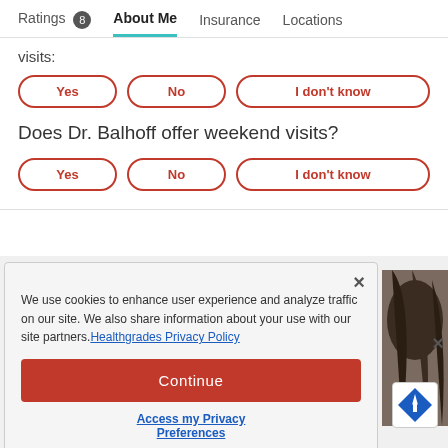Ratings 8   About Me   Insurance   Locations
visits:
Yes | No | I don't know
Does Dr. Balhoff offer weekend visits?
Yes | No | I don't know
We use cookies to enhance user experience and analyze traffic on our site. We also share information about your use with our site partners. Healthgrades Privacy Policy
Continue
Access my Privacy Preferences